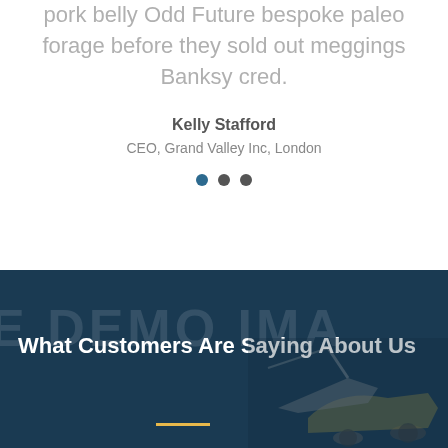pork belly Odd Future bespoke paleo forage before they sold out meggings Banksy cred.
Kelly Stafford
CEO, Grand Valley Inc, London
[Figure (other): Three navigation dots: one active (dark blue), two inactive (dark gray)]
[Figure (photo): Dark blue background image section with faint 'E DEMO IMA' text overlay and construction machinery visible at bottom right]
What Customers Are Saying About Us